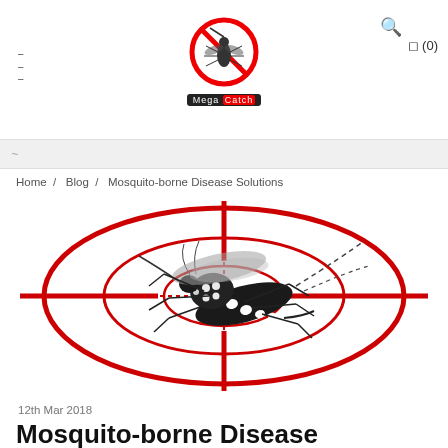Mega Catch — navigation header with hamburger menu, logo, search icon, cart (0)
Home / Blog / Mosquito-borne Disease Solutions
[Figure (illustration): Illustration of a mosquito (tiger/Aedes mosquito, black with white spots) centered within a red crosshair/rifle scope target reticle on a white background]
12th Mar 2018
Mosquito-borne Disease Solutions